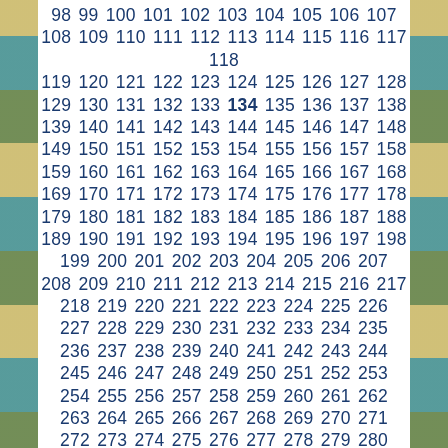98 99 100 101 102 103 104 105 106 107 108 109 110 111 112 113 114 115 116 117 118 119 120 121 122 123 124 125 126 127 128 129 130 131 132 133 134 135 136 137 138 139 140 141 142 143 144 145 146 147 148 149 150 151 152 153 154 155 156 157 158 159 160 161 162 163 164 165 166 167 168 169 170 171 172 173 174 175 176 177 178 179 180 181 182 183 184 185 186 187 188 189 190 191 192 193 194 195 196 197 198 199 200 201 202 203 204 205 206 207 208 209 210 211 212 213 214 215 216 217 218 219 220 221 222 223 224 225 226 227 228 229 230 231 232 233 234 235 236 237 238 239 240 241 242 243 244 245 246 247 248 249 250 251 252 253 254 255 256 257 258 259 260 261 262 263 264 265 266 267 268 269 270 271 272 273 274 275 276 277 278 279 280 281 282 283 284 285 286 287 288 289 290 291 292 293 294 295 296 297 298 299 300